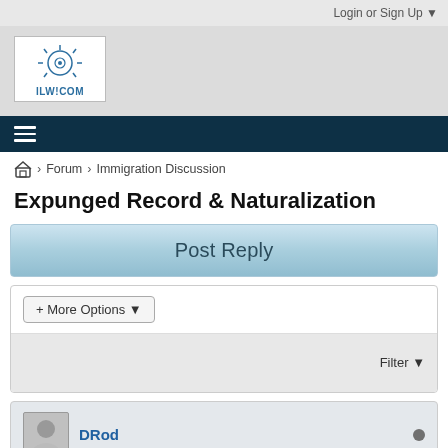Login or Sign Up ▼
[Figure (logo): ILW.COM logo with sun/eye illustration]
≡ (hamburger menu icon)
🏠 > Forum > Immigration Discussion
Expunged Record & Naturalization
Post Reply
+ More Options ▾
Filter ▼
DRod